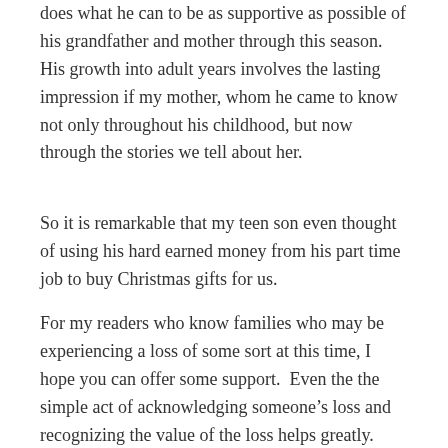does what he can to be as supportive as possible of his grandfather and mother through this season.  His growth into adult years involves the lasting impression if my mother, whom he came to know not only throughout his childhood, but now through the stories we tell about her.
So it is remarkable that my teen son even thought of using his hard earned money from his part time job to buy Christmas gifts for us.
For my readers who know families who may be experiencing a loss of some sort at this time, I hope you can offer some support.  Even the the simple act of acknowledging someone's loss and recognizing the value of the loss helps greatly.